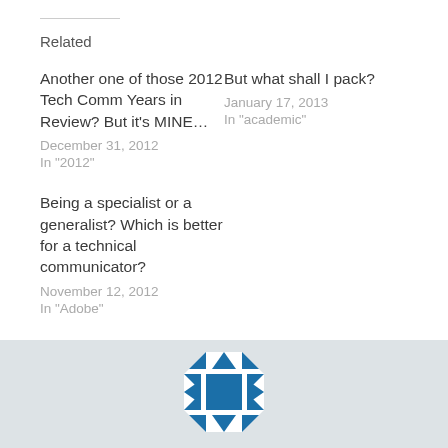Related
Another one of those 2012 Tech Comm Years in Review? But it's MINE…
December 31, 2012
In "2012"
But what shall I pack?
January 17, 2013
In "academic"
Being a specialist or a generalist? Which is better for a technical communicator?
November 12, 2012
In "Adobe"
[Figure (logo): Blue geometric snowflake/star logo with triangular arrow shapes on a light gray background]